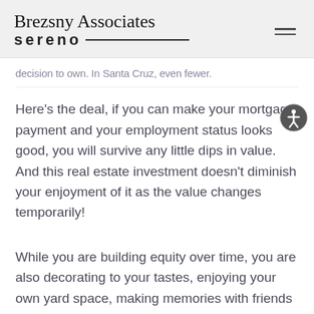Brezsny Associates sereno
decision to own. In Santa Cruz, even fewer.
Here’s the deal, if you can make your mortgage payment and your employment status looks good, you will survive any little dips in value. And this real estate investment doesn’t diminish your enjoyment of it as the value changes temporarily!
While you are building equity over time, you are also decorating to your tastes, enjoying your own yard space, making memories with friends and family and not worrying about landlords asking for you to move out!